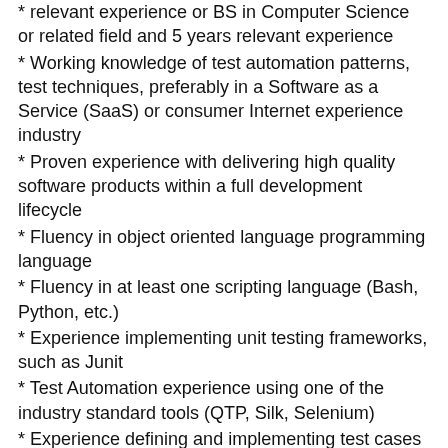relevant experience or BS in Computer Science or related field and 5 years relevant experience
Working knowledge of test automation patterns, test techniques, preferably in a Software as a Service (SaaS) or consumer Internet experience industry
Proven experience with delivering high quality software products within a full development lifecycle
Fluency in object oriented language programming language
Fluency in at least one scripting language (Bash, Python, etc.)
Experience implementing unit testing frameworks, such as Junit
Test Automation experience using one of the industry standard tools (QTP, Silk, Selenium)
Experience defining and implementing test cases in conjunction with software development engineers
Experience in one or more of the following areas is highly desirable: Report Writer, Application Analytics and Business Intelligence
Experience in Continuous integration (CI) and continuous delivery (CD) such as bamboo/teamcity/jenkins is highly deriable